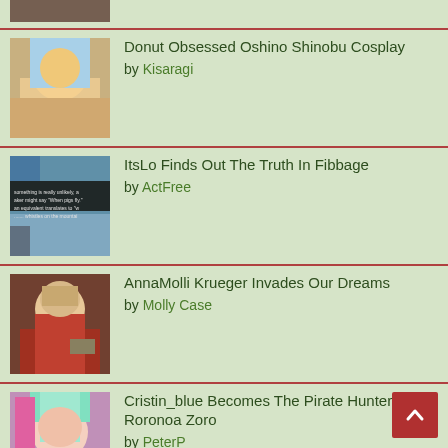Donut Obsessed Oshino Shinobu Cosplay by Kisaragi
ItsLo Finds Out The Truth In Fibbage by ActFree
AnnaMolli Krueger Invades Our Dreams by Molly Case
Cristin_blue Becomes The Pirate Hunter Roronoa Zoro by PeterP